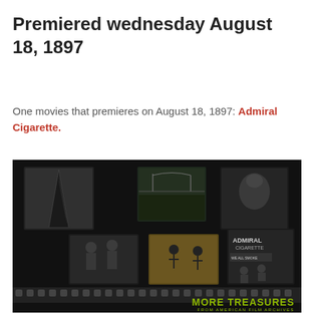Premiered wednesday August 18, 1897
One movies that premieres on August 18, 1897: Admiral Cigarette.
[Figure (photo): A dark film archive promotional image showing multiple black and white film stills including a tall building viewed from below, a bridge/landscape scene, a person's face, workers, an animated scene, and an Admiral Cigarette advertisement. A film strip runs along the bottom. Text reads MORE TREASURES FROM AMERICAN FILM ARCHIVES.]